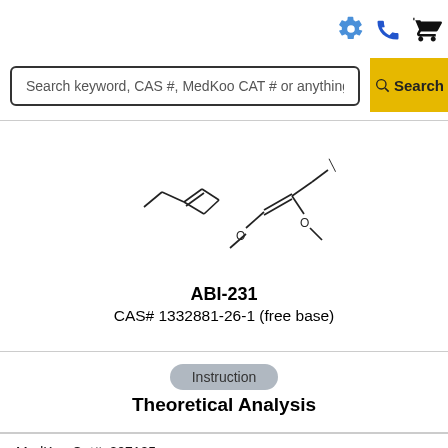Search keyword, CAS #, MedKoo CAT # or anything...
[Figure (illustration): Chemical structure drawing of ABI-231, showing a benzene ring connected to a vinyl-dimethoxymethyl and methylamine group]
ABI-231
CAS# 1332881-26-1 (free base)
Instruction
Theoretical Analysis
MedKoo Cat#: 207105
Name: ABI-231
CAS#: 1332881-26-1 (free base)
Chemical Formula: C21H19N3O4
Exact Mass: 377.1376
Molecular Weight: 377.4
Elemental Analysis: C, 66.83; H, 5.07; N, 11.13; O, 16.96